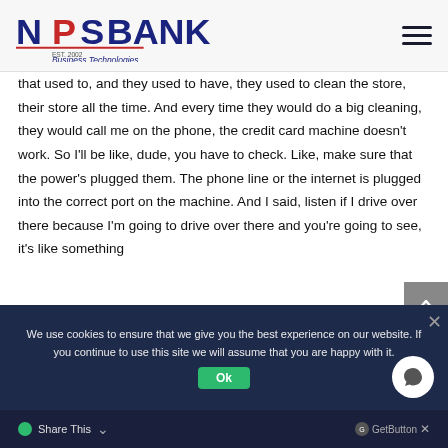NPS Bank Business Technologies
that used to, and they used to have, they used to clean the store, their store all the time. And every time they would do a big cleaning, they would call me on the phone, the credit card machine doesn't work. So I'll be like, dude, you have to check. Like, make sure that the power's plugged them. The phone line or the internet is plugged into the correct port on the machine. And I said, listen if I drive over there because I'm going to drive over there and you're going to see, it's like something
We use cookies to ensure that we give you the best experience on our website. If you continue to use this site we will assume that you are happy with it.
Share This | GetButton